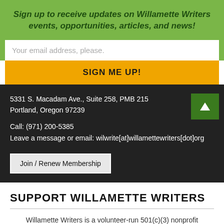Sign up to receive updates on Willamette Writers events, opportunities, articles, and news!
Your email address, please.
SIGN ME UP!
5331 S. Macadam Ave., Suite 258, PMB 215
Portland, Oregon 97239
Call: (971) 200-5385
Leave a message or email: wilwrite[at]willamettewriters[dot]org
Join / Renew Membership
SUPPORT WILLAMETTE WRITERS
Willamette Writers is a volunteer-run 501(c)(3) nonprofit organization, supporting writers for more than 50 years. Donate